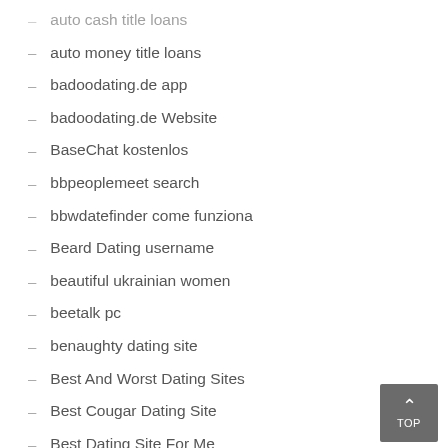auto cash title loans
auto money title loans
badoodating.de app
badoodating.de Website
BaseChat kostenlos
bbpeoplemeet search
bbwdatefinder come funziona
Beard Dating username
beautiful ukrainian women
beetalk pc
benaughty dating site
Best And Worst Dating Sites
Best Cougar Dating Site
Best Dating Site For Me
Best Dating Site In The Usa